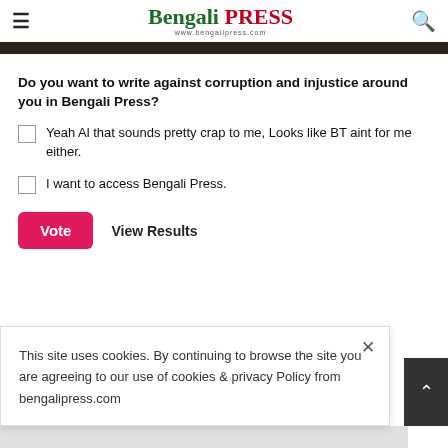Bengali Press
Do you want to write against corruption and injustice around you in Bengali Press?
Yeah Al that sounds pretty crap to me, Looks like BT aint for me either.
I want to access Bengali Press.
Vote  View Results
This site uses cookies. By continuing to browse the site you are agreeing to our use of cookies & privacy Policy from bengalipress.com